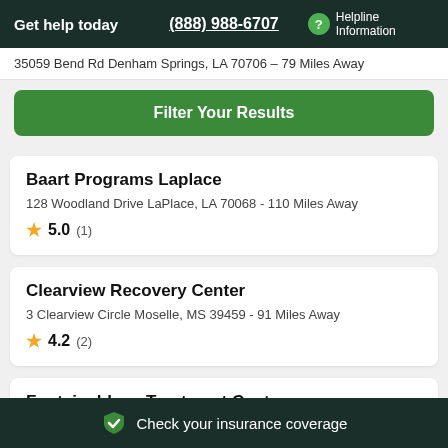Get help today  (888) 988-6707  Helpline Information
35059 Bend Rd Denham Springs, LA 70706 – 79 Miles Away
Filter Your Results
Baart Programs Laplace
128 Woodland Drive LaPlace, LA 70068 - 110 Miles Away
5.0 (1)
Clearview Recovery Center
3 Clearview Circle Moselle, MS 39459 - 91 Miles Away
4.2 (2)
Fontainebleau Treatment Center
Check your insurance coverage